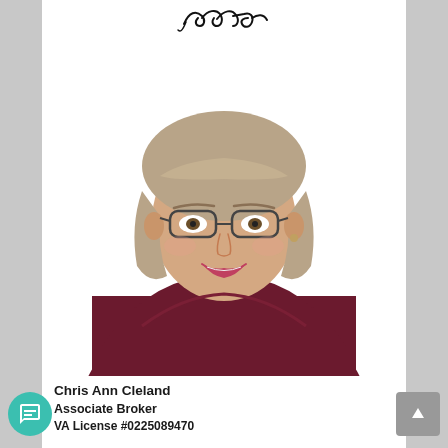[Figure (illustration): Handwritten cursive signature in black ink at the top of the page]
[Figure (photo): Professional headshot photo of Chris Ann Cleland, a woman with short brown/gray hair and glasses, wearing a dark maroon/burgundy top, smiling, against a white background]
Chris Ann Cleland
Associate Broker
VA License #0225089470